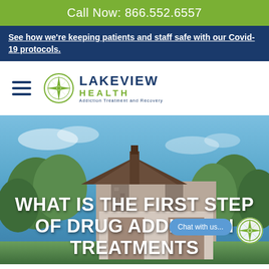Call Now: 866.552.6557
See how we're keeping patients and staff safe with our Covid-19 protocols.
[Figure (logo): Lakeview Health - Addiction Treatment and Recovery logo with compass rose icon]
[Figure (photo): Exterior photo of Lakeview Health facility with stone building, wood-trimmed roof, and surrounding trees under blue sky]
WHAT IS THE FIRST STEP OF DRUG ADDICTION TREATMENTS